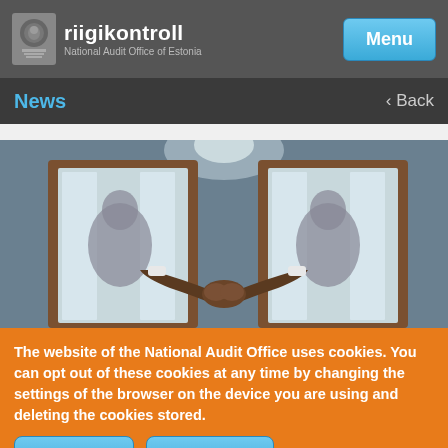riigikontroll National Audit Office of Estonia
News
Back
[Figure (photo): Two silhouetted figures shaking hands through glass doors, representing cooperation or agreement]
The website of the National Audit Office uses cookies. You can opt out of these cookies at any time by changing the settings of the browser on the device you are using and deleting the cookies stored.
Learn more
I understand